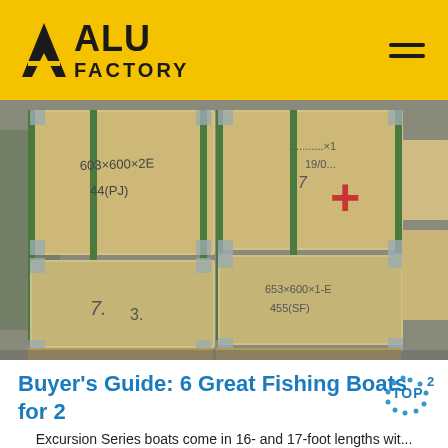ALU FACTORY
[Figure (photo): Warehouse photo showing stacked wooden crates/boxes with handwritten labels on them, stored on wooden pallets in an industrial setting]
Buyer's Guide: 6 Great Fishing Boats for 2
Excursion Series boats come in 16- and 17-foot lengths wit...
Get Price